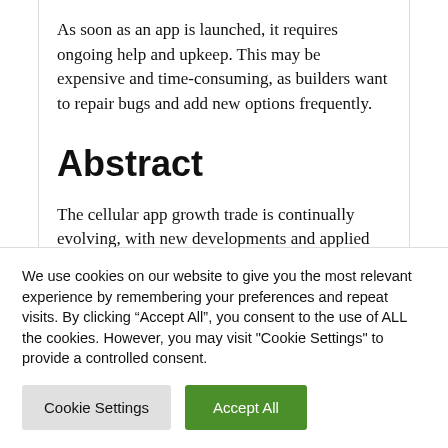As soon as an app is launched, it requires ongoing help and upkeep. This may be expensive and time-consuming, as builders want to repair bugs and add new options frequently.
Abstract
The cellular app growth trade is continually evolving, with new developments and applied sciences rising on a regular basis. This text
We use cookies on our website to give you the most relevant experience by remembering your preferences and repeat visits. By clicking “Accept All”, you consent to the use of ALL the cookies. However, you may visit "Cookie Settings" to provide a controlled consent.